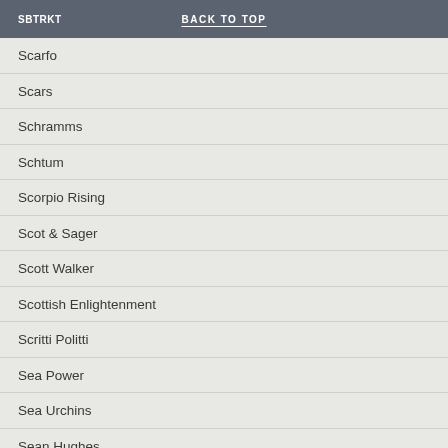SBTRKT | BACK TO TOP
Scarfo
Scars
Schramms
Schtum
Scorpio Rising
Scot & Sager
Scott Walker
Scottish Enlightenment
Scritti Politti
Sea Power
Sea Urchins
Sean Hughes